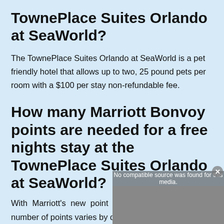TownePlace Suites Orlando at SeaWorld?
The TownePlace Suites Orlando at SeaWorld is a pet friendly hotel that allows up to two, 25 pound pets per room with a $100 per stay non-refundable fee.
How many Marriott Bonvoy points are needed for a free nights stay at the TownePlace Suites Orlando at SeaWorld?
With Marriott's new point system now in place, the number of points varies by date / time of year. We
[Figure (screenshot): Video media overlay showing 'No compatible source was found for this media.' message with close button and video thumbnail area.]